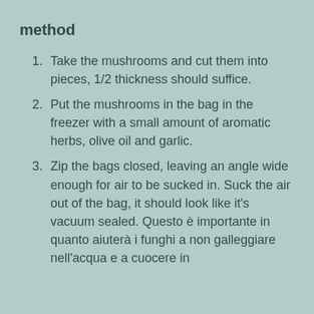method
Take the mushrooms and cut them into pieces, 1/2 thickness should suffice.
Put the mushrooms in the bag in the freezer with a small amount of aromatic herbs, olive oil and garlic.
Zip the bags closed, leaving an angle wide enough for air to be sucked in. Suck the air out of the bag, it should look like it's vacuum sealed. Questo è importante in quanto aiuterà i funghi a non galleggiare nell'acqua e a cuocere in